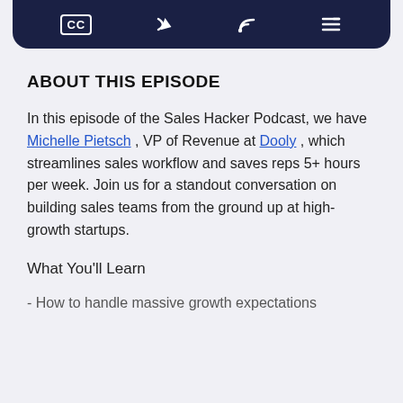[Figure (other): Dark navy top navigation bar with CC (closed caption), share, RSS/wifi, and menu icons]
ABOUT THIS EPISODE
In this episode of the Sales Hacker Podcast, we have Michelle Pietsch , VP of Revenue at Dooly , which streamlines sales workflow and saves reps 5+ hours per week. Join us for a standout conversation on building sales teams from the ground up at high-growth startups.
What You'll Learn
- How to handle massive growth expectations